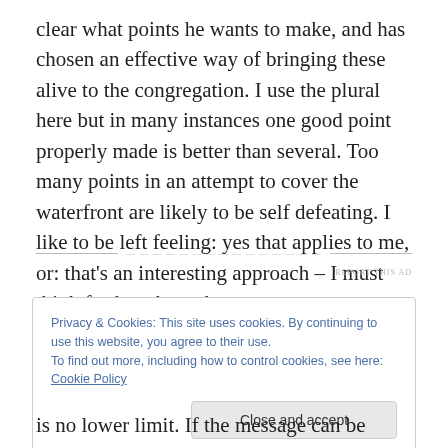clear what points he wants to make, and has chosen an effective way of bringing these alive to the congregation. I use the plural here but in many instances one good point properly made is better than several. Too many points in an attempt to cover the waterfront are likely to be self defeating. I like to be left feeling: yes that applies to me, or: that's an interesting approach – I must think further about that.
Cookie Banner: Privacy & Cookies: This site uses cookies. By continuing to use this website, you agree to their use. To find out more, including how to control cookies, see here: Cookie Policy. Close and accept.
is no lower limit. If the message can be communicated in